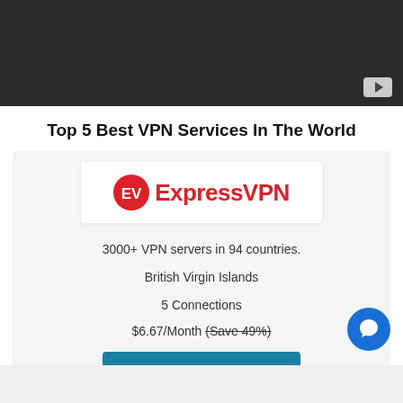[Figure (screenshot): Dark video player banner with YouTube play button in bottom-right corner]
Top 5 Best VPN Services In The World
[Figure (logo): ExpressVPN logo — red circle with EV monogram and ExpressVPN text in red]
3000+ VPN servers in 94 countries.
British Virgin Islands
5 Connections
$6.67/Month (Save 49%)
1 View Deals